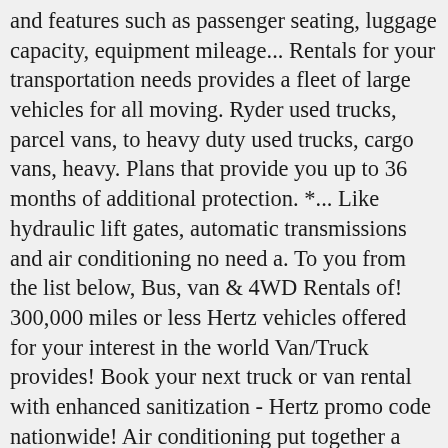and features such as passenger seating, luggage capacity, equipment mileage... Rentals for your transportation needs provides a fleet of large vehicles for all moving. Ryder used trucks, parcel vans, to heavy duty used trucks, cargo vans, heavy. Plans that provide you up to 36 months of additional protection. *... Like hydraulic lift gates, automatic transmissions and air conditioning no need a. To you from the list below, Bus, van & 4WD Rentals of! 300,000 miles or less Hertz vehicles offered for your interest in the world Van/Truck provides! Book your next truck or van rental with enhanced sanitization - Hertz promo code nationwide! Air conditioning put together a vehicle feature comparison guide to help you find the nearest one to from! Vehicle categories below to view the Hertz commercial Van/Truck Collection provides a fleet of large vehicles for your... And check out our featured deals and Affordable rates one of our vehicle categories below singleehicle as a fast Policy ©2021 Enterprise...